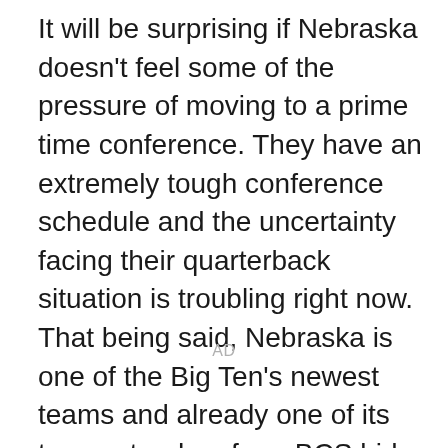It will be surprising if Nebraska doesn't feel some of the pressure of moving to a prime time conference. They have an extremely tough conference schedule and the uncertainty facing their quarterback situation is troubling right now. That being said, Nebraska is one of the Big Ten's newest teams and already one of its top contenders for a BCS bid.
AD